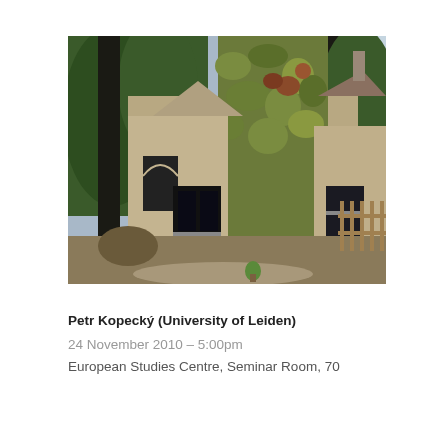[Figure (photo): Exterior photograph of a Victorian stone building covered with climbing ivy and surrounded by tall trees. The building has Gothic-arched windows and bay windows. A wooden picket fence is visible on the right side. The photo is taken in summer/autumn.]
Petr Kopecký (University of Leiden)
24 November 2010 – 5:00pm
European Studies Centre, Seminar Room, 70